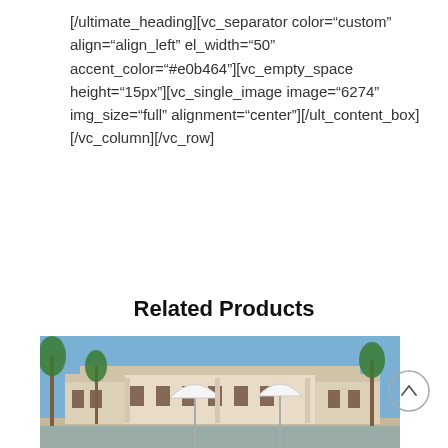[/ultimate_heading][vc_separator color="custom" align="align_left" el_width="50" accent_color="#e0b464"][vc_empty_space height="15px"][vc_single_image image="6274" img_size="full" alignment="center"][/ult_content_box][/vc_column][/vc_row]
Related Products
[Figure (photo): Outdoor photo of a Mediterranean-style building with white umbrella sunshades, palm trees, blue sky, and a pool area in the foreground.]